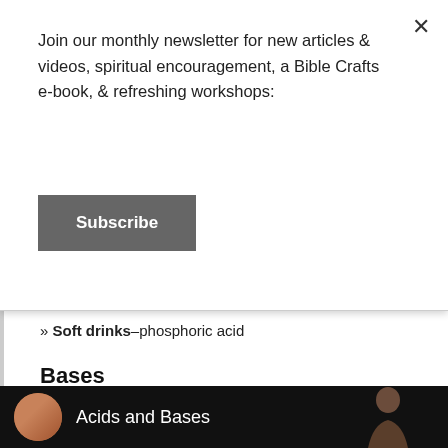Join our monthly newsletter for new articles & videos, spiritual encouragement, a Bible Crafts e-book, & refreshing workshops:
Subscribe
» Soft drinks–phosphoric acid
Bases
» Ammonia–ammonium hydroxide
» Oven Cleaner–sodium hydroxide
» Baking Soda–sodium bicarbonate
Acids and Bases Experiment
Now we are going to conduct a simple experiment that shows what will happen when you combine an acid and a base:
[Figure (screenshot): Video thumbnail with dark background showing a woman with red hair, a circular avatar, and text reading 'Acids and Bases', with another person visible on the right side.]